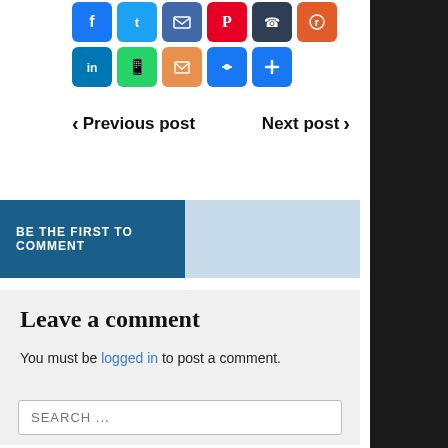[Figure (infographic): Row of social media share buttons: Facebook, Twitter, Email, Pinterest, Phone, Reddit, LinkedIn, WhatsApp, Orange, Link, Plus]
< Previous post    Next post >
BE THE FIRST TO COMMENT
Leave a comment
You must be logged in to post a comment.
SEARCH ...